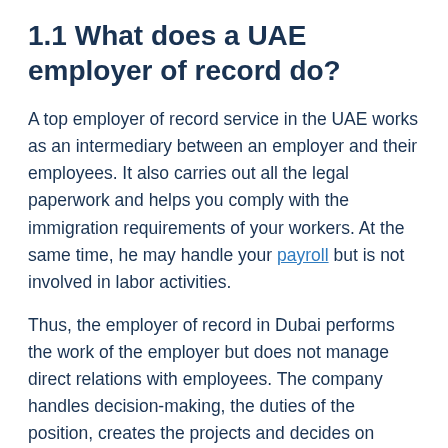1.1 What does a UAE employer of record do?
A top employer of record service in the UAE works as an intermediary between an employer and their employees. It also carries out all the legal paperwork and helps you comply with the immigration requirements of your workers. At the same time, he may handle your payroll but is not involved in labor activities.
Thus, the employer of record in Dubai performs the work of the employer but does not manage direct relations with employees. The company handles decision-making, the duties of the position, creates the projects and decides on contract terminations.
Therefore, the best employer of record service in